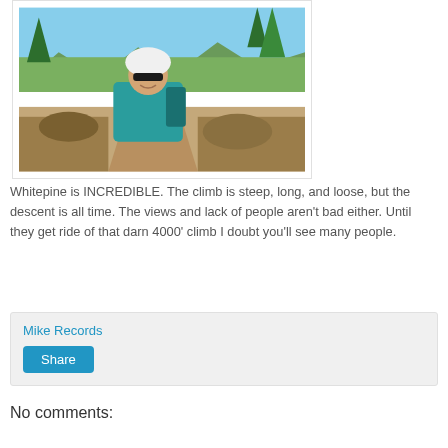[Figure (photo): Man wearing a white helmet and teal mountain biking jersey smiling on a dirt trail surrounded by trees and brush under a clear sky.]
Whitepine is INCREDIBLE. The climb is steep, long, and loose, but the descent is all time. The views and lack of people aren't bad either. Until they get ride of that darn 4000' climb I doubt you'll see many people.
Mike Records
Share
No comments: